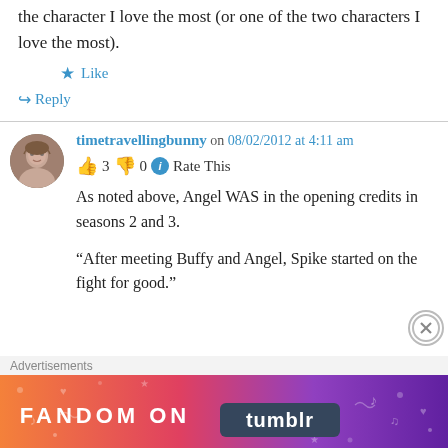the character I love the most (or one of the two characters I love the most).
★ Like
↪ Reply
timetravellingbunny on 08/02/2012 at 4:11 am
👍 3 👎 0 ℹ Rate This
As noted above, Angel WAS in the opening credits in seasons 2 and 3.
“After meeting Buffy and Angel, Spike started on the fight for good.”
Advertisements
[Figure (other): Fandom on Tumblr advertisement banner with gradient orange to purple background and decorative icons]